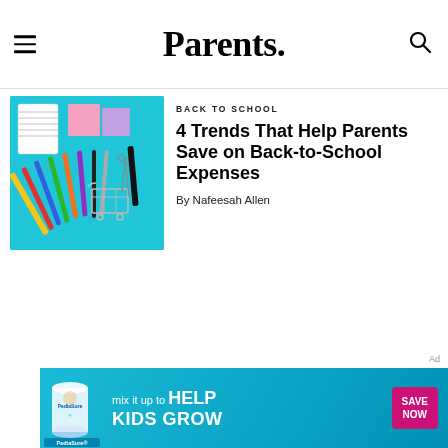Parents.
BACK TO SCHOOL
4 Trends That Help Parents Save on Back-to-School Expenses
By Nafeesah Allen
[Figure (photo): School supplies including pencils, colored pencils, pens, scissors, a small shopping cart, and notebook on a bright teal/cyan blue background]
[Figure (photo): PediaSure advertisement banner with text 'mix it up to HELP KIDS GROW' and 'SAVE NOW' button on teal background]